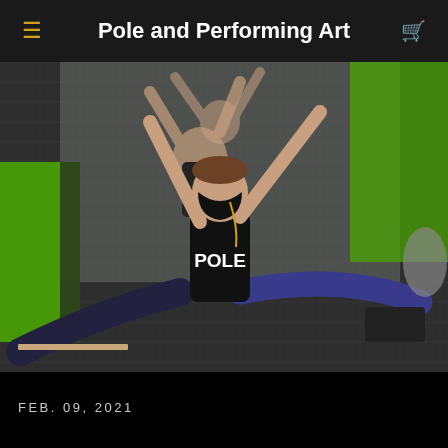Pole and Performing Art
[Figure (photo): A woman wearing a black face mask and black tank top with 'POLE' printed on it, performing a split stretch on a patterned carpet floor. Her arms are raised. A mirror behind her reflects her back. Green wall accent visible in the background.]
FEB. 09, 2021